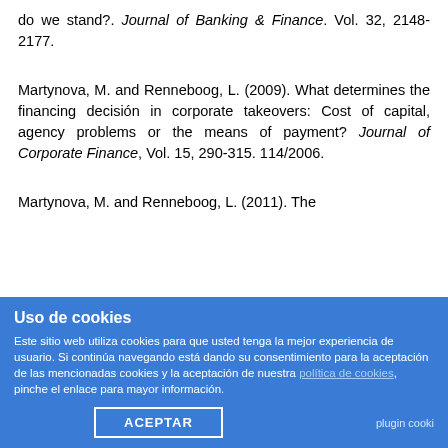do we stand?. Journal of Banking & Finance. Vol. 32, 2148-2177.
Martynova, M. and Renneboog, L. (2009). What determines the financing decisión in corporate takeovers: Cost of capital, agency problems or the means of payment? Journal of Corporate Finance, Vol. 15, 290-315. 114/2006.
Uso de cookies
Este sitio web utiliza cookies para que usted tenga la mejor experiencia de usuario. Si continúa navegando está dando su consentimiento para la aceptación de las mencionadas cookies y la aceptación de nuestra política de cookies, pinche el enlace para mayor información.
ACEPTAR
plugin cooki